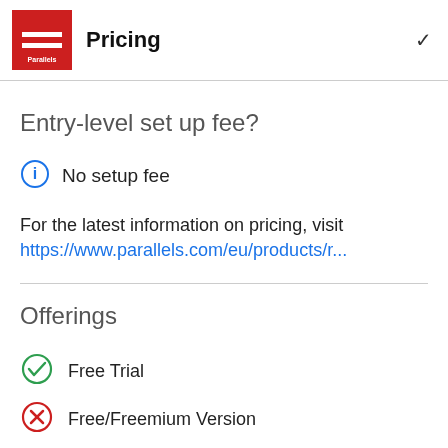Pricing
Entry-level set up fee?
No setup fee
For the latest information on pricing, visit https://www.parallels.com/eu/products/r...
Offerings
Free Trial
Free/Freemium Version